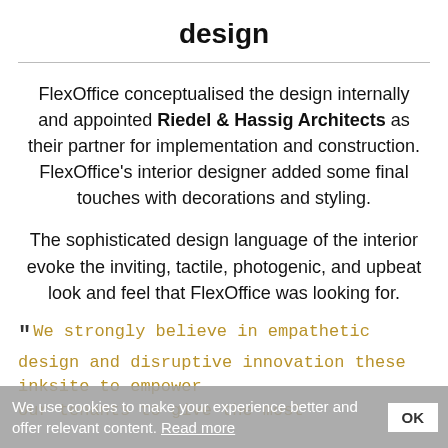design
FlexOffice conceptualised the design internally and appointed Riedel & Hassig Architects as their partner for implementation and construction. FlexOffice's interior designer added some final touches with decorations and styling.
The sophisticated design language of the interior evoke the inviting, tactile, photogenic, and upbeat look and feel that FlexOffice was looking for.
" We strongly believe in empathetic design and disruptive innovation these inksite to empower our tenants to give the most
We use cookies to make your experience better and offer relevant content. Read more  OK